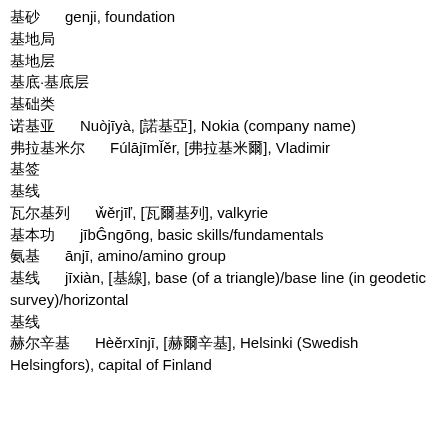□□ genji, foundation
□□□
□□□
□□·□□□□
□□□
□□□ Nuòjīyà, [□□□], Nokia (company name)
□□□□□ Fúlājīmǐěr, [□□□□□], Vladimir
□□
□□
□□□□ wǎěrjīlǐ, [□□□□], valkyrie
□□□ jīběngōng, basic skills/fundamentals
□□ ānjī, amino/amino group
□□ jīxiàn, [□□], base (of a triangle)/base line (in geodetic survey)/horizontal
□□
□□□□ Hèěrxīnjī, [□□□□], Helsinki (Swedish Helsingfors), capital of Finland